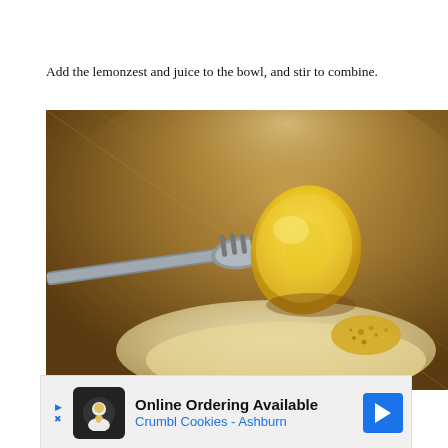Add the lemonzest and juice to the bowl, and stir to combine.
[Figure (photo): A fork holding a wedge of lemon over a metal mixing bowl containing a creamy batter with lemon zest visible.]
Online Ordering Available
Crumbl Cookies - Ashburn